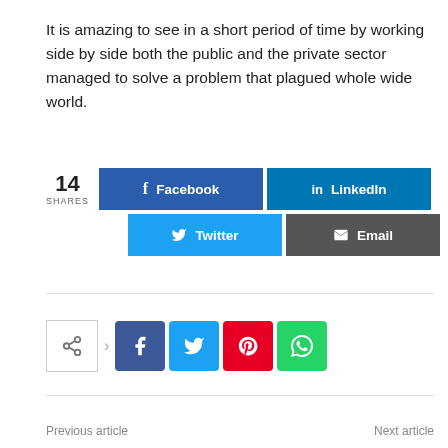It is amazing to see in a short period of time by working side by side both the public and the private sector managed to solve a problem that plagued whole wide world.
[Figure (infographic): Social share buttons showing 14 SHARES with Facebook, LinkedIn, Twitter, and Email buttons]
[Figure (infographic): Social share icon row with share toggle, arrow, Facebook (dark blue), Twitter (light blue), Pinterest (red), and WhatsApp (green) icon buttons]
Previous article    Next article